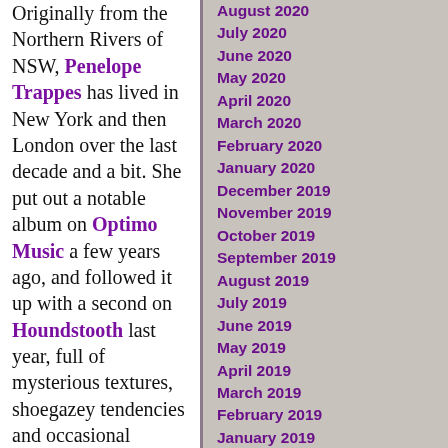Originally from the Northern Rivers of NSW, Penelope Trappes has lived in New York and then London over the last decade and a bit. She put out a notable album on Optimo Music a few years ago, and followed it up with a second on Houndstooth last year, full of mysterious textures, shoegazey tendencies and occasional echoey beats. The second album has now been remixed on Penelope Redeux by an array of interesting types, including Mogwai, Throwing Snow, Nik Colk Void and others. Aasthma is the duo of
August 2020
July 2020
June 2020
May 2020
April 2020
March 2020
February 2020
January 2020
December 2019
November 2019
October 2019
September 2019
August 2019
July 2019
June 2019
May 2019
April 2019
March 2019
February 2019
January 2019
December 2018
November 2018
October 2018
September 2018
August 2018
July 2018
June 2018
May 2018
April 2018